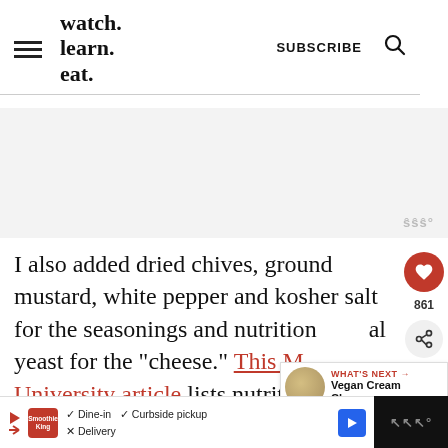watch. learn. eat. | SUBSCRIBE
[Figure (screenshot): Gray advertisement placeholder area with watermark logo in bottom right]
I also added dried chives, ground mustard, white pepper and kosher salt for the seasonings and nutritional yeast for the "cheese." This McGill University article lists nutritional y...
[Figure (screenshot): What's Next panel: Vegan Cream Cheese... with thumbnail image]
[Figure (screenshot): Bottom advertisement bar: Smoothie King - Dine-in, Curbside pickup, Delivery options]